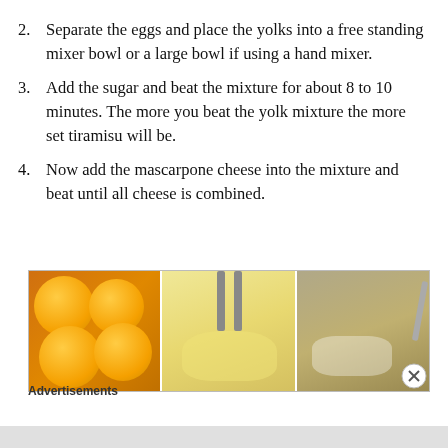2. Separate the eggs and place the yolks into a free standing mixer bowl or a large bowl if using a hand mixer.
3. Add the sugar and beat the mixture for about 8 to 10 minutes. The more you beat the yolk mixture the more set tiramisu will be.
4. Now add the mascarpone cheese into the mixture and beat until all cheese is combined.
[Figure (photo): Three side-by-side photos showing tiramisu preparation steps: egg yolks, beating the mixture with a mixer, and adding mascarpone cheese.]
Advertisements